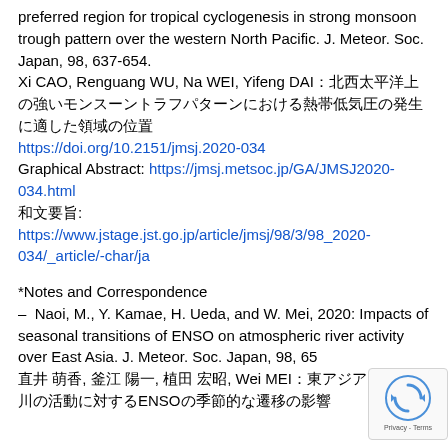preferred region for tropical cyclogenesis in strong monsoon trough pattern over the western North Pacific. J. Meteor. Soc. Japan, 98, 637-654.
Xi CAO, Renguang WU, Na WEI, Yifeng DAI：北西太平洋上の強いモンスーントラフパターンにおける熱帯低気圧の発生に適した領域の位置
https://doi.org/10.2151/jmsj.2020-034
Graphical Abstract: https://jmsj.metsoc.jp/GA/JMSJ2020-034.html
和文要旨: https://www.jstage.jst.go.jp/article/jmsj/98/3/98_2020-034/_article/-char/ja
*Notes and Correspondence
– Naoi, M., Y. Kamae, H. Ueda, and W. Mei, 2020: Impacts of seasonal transitions of ENSO on atmospheric river activity over East Asia. J. Meteor. Soc. Japan, 98, 65
直井 萌香, 釜江 陽一, 植田 宏昭, Wei MEI：東アジアる大気の川の活動に対するENSOの季節的な遷移の影響